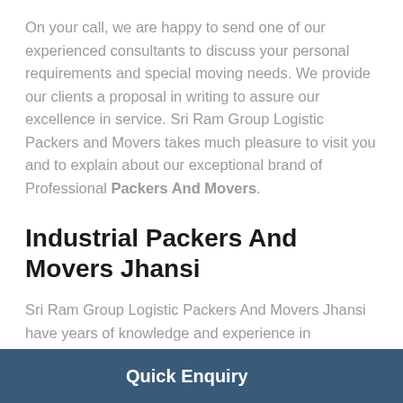On your call, we are happy to send one of our experienced consultants to discuss your personal requirements and special moving needs. We provide our clients a proposal in writing to assure our excellence in service. Sri Ram Group Logistic Packers and Movers takes much pleasure to visit you and to explain about our exceptional brand of Professional Packers And Movers.
Industrial Packers And Movers Jhansi
Sri Ram Group Logistic Packers And Movers Jhansi have years of knowledge and experience in relocating the industries. We provide customized relocation solutions to handle your specific needs. Being spread countrywide we offer high
Quick Enquiry